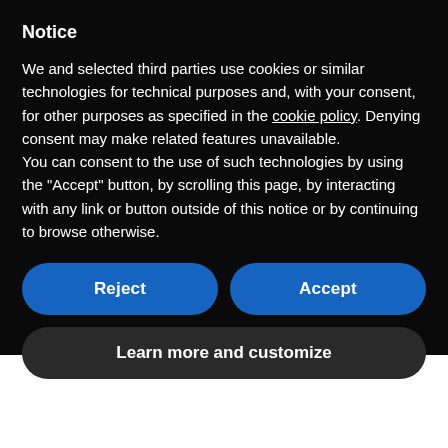Notice
We and selected third parties use cookies or similar technologies for technical purposes and, with your consent, for other purposes as specified in the cookie policy. Denying consent may make related features unavailable.
You can consent to the use of such technologies by using the "Accept" button, by scrolling this page, by interacting with any link or button outside of this notice or by continuing to browse otherwise.
Reject
Accept
Learn more and customize
possible – and thanks to the aligned approach taken by stakeholders across Dubai, we have been able to quickly mobilise when necessary to accommodate businesses, associations and other organisations to review their original